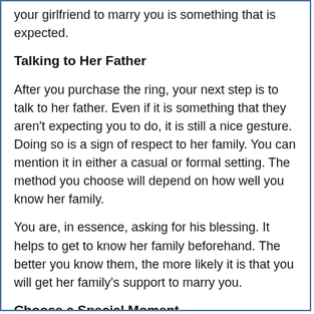your girlfriend to marry you is something that is expected.
Talking to Her Father
After you purchase the ring, your next step is to talk to her father. Even if it is something that they aren't expecting you to do, it is still a nice gesture. Doing so is a sign of respect to her family. You can mention it in either a casual or formal setting. The method you choose will depend on how well you know her family.
You are, in essence, asking for his blessing. It helps to get to know her family beforehand. The better you know them, the more likely it is that you will get her family's support to marry you.
Choose a Special Moment
No matter how you decide to propose, the moment should be special. In the movies, we are often exposed to elaborate scenarios such as putting the engagement ring in her dessert or taking her on a trip in order to propose at the right time. However, the right moment doesn't necessarily need to be